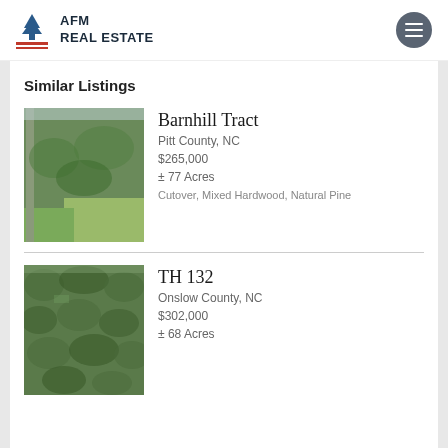[Figure (logo): AFM Real Estate logo with tree/flag icon]
Similar Listings
[Figure (photo): Aerial view of Barnhill Tract forested land with green fields]
Barnhill Tract
Pitt County, NC
$265,000
± 77 Acres
Cutover, Mixed Hardwood, Natural Pine
[Figure (photo): Aerial view of TH 132 forested land, dense pine trees]
TH 132
Onslow County, NC
$302,000
± 68 Acres